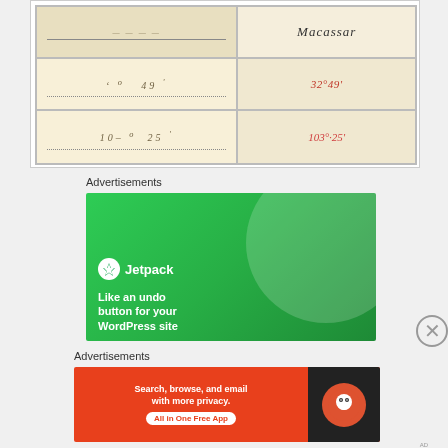[Figure (other): Grid of scanned historical document images showing handwritten coordinates and place names including 'Macassar', '32°49'', '103°25'']
Advertisements
[Figure (screenshot): Jetpack advertisement with green background showing logo and tagline 'Like an undo button for your WordPress site']
Advertisements
[Figure (screenshot): DuckDuckGo advertisement on orange background: 'Search, browse, and email with more privacy. All in One Free App']